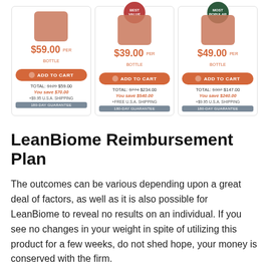[Figure (screenshot): Three product pricing cards for LeanBiome supplement. Left card: $59.00 per bottle, ADD TO CART, TOTAL: $129 $59.00, You save $70.00, +$9.95 U.S.A. SHIPPING, 180-DAY GUARANTEE. Middle card (BEST VALUE badge): $39.00 per bottle, ADD TO CART, TOTAL: $774 $234.00, You save $540.00, +FREE U.S.A. SHIPPING, 180-DAY GUARANTEE. Right card (MOST POPULAR badge): $49.00 per bottle, ADD TO CART, TOTAL: $387 $147.00, You save $240.00, +$9.95 U.S.A. SHIPPING, 180-DAY GUARANTEE.]
LeanBiome Reimbursement Plan
The outcomes can be various depending upon a great deal of factors, as well as it is also possible for LeanBiome to reveal no results on an individual. If you see no changes in your weight in spite of utilizing this product for a few weeks, do not shed hope, your money is conserved with the firm.